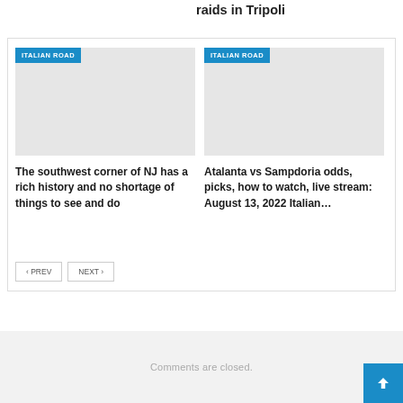raids in Tripoli
[Figure (photo): Gray placeholder image with ITALIAN ROAD badge — left article]
The southwest corner of NJ has a rich history and no shortage of things to see and do
[Figure (photo): Gray placeholder image with ITALIAN ROAD badge — right article]
Atalanta vs Sampdoria odds, picks, how to watch, live stream: August 13, 2022 Italian…
‹ PREV   NEXT ›
Comments are closed.